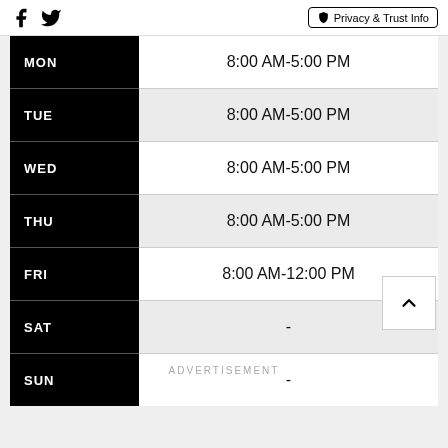Facebook icon | Twitter icon | Privacy & Trust Info
| Day | Hours |
| --- | --- |
| MON | 8:00 AM-5:00 PM |
| TUE | 8:00 AM-5:00 PM |
| WED | 8:00 AM-5:00 PM |
| THU | 8:00 AM-5:00 PM |
| FRI | 8:00 AM-12:00 PM |
| SAT | - |
| SUN | - |
ADVERTISEMENT